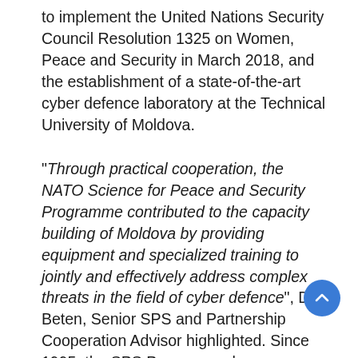to implement the United Nations Security Council Resolution 1325 on Women, Peace and Security in March 2018, and the establishment of a state-of-the-art cyber defence laboratory at the Technical University of Moldova.
“Through practical cooperation, the NATO Science for Peace and Security Programme contributed to the capacity building of Moldova by providing equipment and specialized training to jointly and effectively address complex threats in the field of cyber defence”, Dr Beten, Senior SPS and Partnership Cooperation Advisor highlighted. Since 1995, the SPS Programme has supported many activities in cooperation with the Republic of Moldova primarily in the fields of cyber defence, defence against biological agents, advanced technologies and the Women, Peace